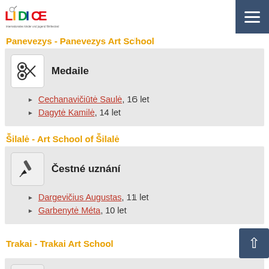LIDICE logo and navigation menu
Panevezys - Panevezys Art School
Medaile
Cechanavičiūtė Saulė, 16 let
Dagytė Kamilė, 14 let
Šilalė - Art School of Šilalė
Čestné uznání
Dargevičius Augustas, 11 let
Garbenytė Méta, 10 let
Trakai - Trakai Art School
Medaile